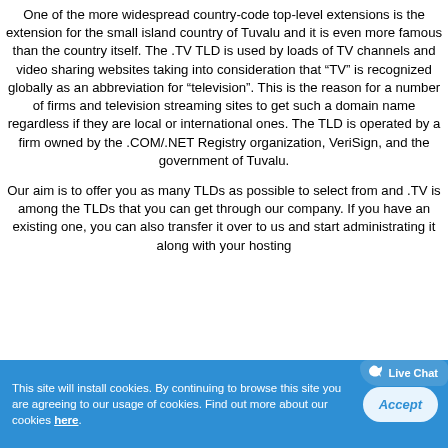One of the more widespread country-code top-level extensions is the extension for the small island country of Tuvalu and it is even more famous than the country itself. The .TV TLD is used by loads of TV channels and video sharing websites taking into consideration that “TV” is recognized globally as an abbreviation for “television”. This is the reason for a number of firms and television streaming sites to get such a domain name regardless if they are local or international ones. The TLD is operated by a firm owned by the .COM/.NET Registry organization, VeriSign, and the government of Tuvalu.
Our aim is to offer you as many TLDs as possible to select from and .TV is among the TLDs that you can get through our company. If you have an existing one, you can also transfer it over to us and start administrating it along with your hosting
[Figure (other): Live Chat bubble widget with bird icon overlay]
This site will install cookies. By continuing to browse this site you are agreeing to our usage of cookies. Find out more about our cookies here.